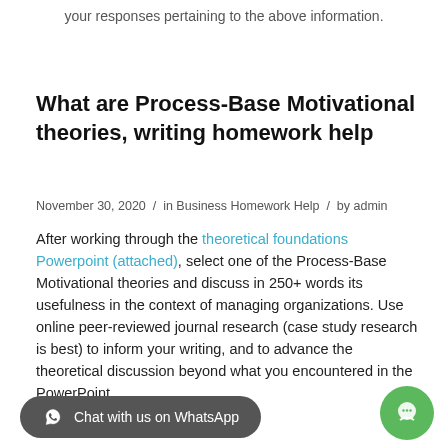your responses pertaining to the above information.
What are Process-Base Motivational theories, writing homework help
November 30, 2020 / in Business Homework Help / by admin
After working through the theoretical foundations Powerpoint (attached), select one of the Process-Base Motivational theories and discuss in 250+ words its usefulness in the context of managing organizations. Use online peer-reviewed journal research (case study research is best) to inform your writing, and to advance the theoretical discussion beyond what you encountered in the PowerPoint.